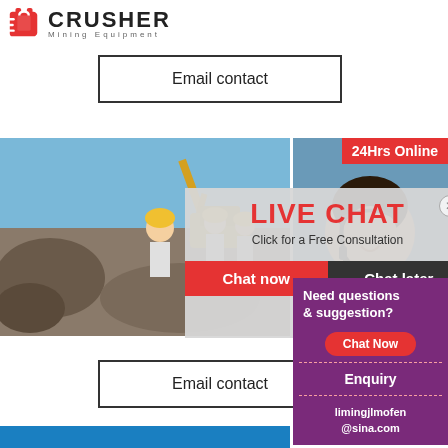[Figure (logo): Crusher Mining Equipment logo with red shopping bag icon and bold CRUSHER text]
Email contact
[Figure (photo): Two-panel mining site banner: left panel shows excavator at rocky quarry site with workers in yellow hard hats; right panel shows female customer service representative with headset]
[Figure (infographic): Live chat overlay popup with LIVE CHAT heading in red, 'Click for a Free Consultation' subtext, Chat now (red) and Chat later (dark) buttons]
24Hrs Online
Need questions & suggestion?
Chat Now
Enquiry
limingjlmofen@sina.com
Email contact